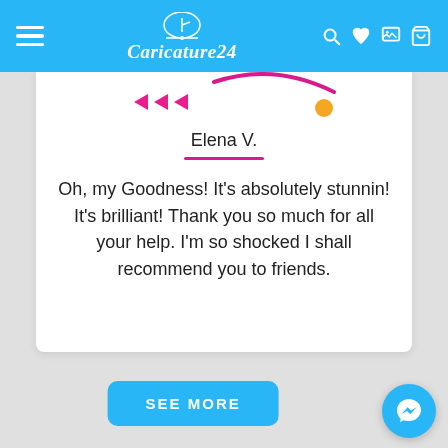[Figure (screenshot): Caricature24 website header with blue background, hamburger menu, logo, search, heart, gallery, and cart icons]
Elena V.
Oh, my Goodness! It's absolutely stunnin! It's brilliant! Thank you so much for all your help. I'm so shocked I shall recommend you to friends.
SEE MORE